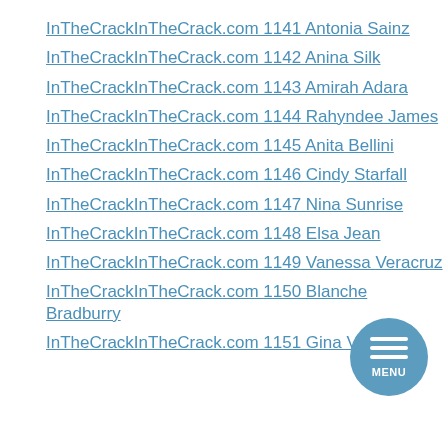InTheCrackInTheCrack.com 1141 Antonia Sainz
InTheCrackInTheCrack.com 1142 Anina Silk
InTheCrackInTheCrack.com 1143 Amirah Adara
InTheCrackInTheCrack.com 1144 Rahyndee James
InTheCrackInTheCrack.com 1145 Anita Bellini
InTheCrackInTheCrack.com 1146 Cindy Starfall
InTheCrackInTheCrack.com 1147 Nina Sunrise
InTheCrackInTheCrack.com 1148 Elsa Jean
InTheCrackInTheCrack.com 1149 Vanessa Veracruz
InTheCrackInTheCrack.com 1150 Blanche Bradburry
InTheCrackInTheCrack.com 1151 Gina Valentina